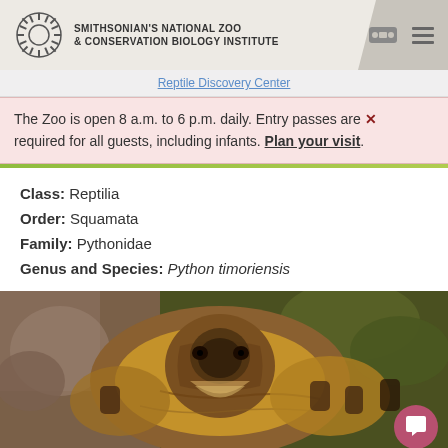SMITHSONIAN'S NATIONAL ZOO & CONSERVATION BIOLOGY INSTITUTE
Reptile Discovery Center
The Zoo is open 8 a.m. to 6 p.m. daily. Entry passes are required for all guests, including infants. Plan your visit.
Class: Reptilia
Order: Squamata
Family: Pythonidae
Genus and Species: Python timoriensis
[Figure (photo): Close-up photograph of a coiled Timor python (Python timoriensis), showing detailed brown and gold patterned scales on its head and body]
Help This Species